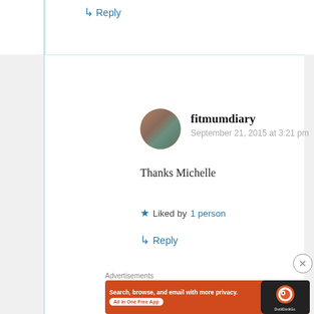↳ Reply
fitmumdiary
September 21, 2015 at 3:21 pm
Thanks Michelle
★ Liked by 1 person
↳ Reply
Advertisements
[Figure (other): DuckDuckGo advertisement banner: 'Search, browse, and email with more privacy. All in One Free App' with DuckDuckGo logo on a phone graphic, orange background.]